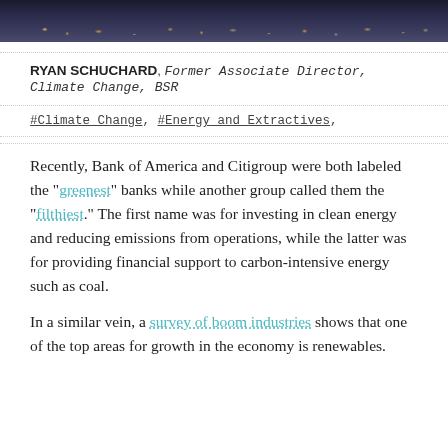[Figure (photo): Night city skyline header photo with dark blue/purple tones and visible city lights]
RYAN SCHUCHARD, Former Associate Director, Climate Change, BSR
#Climate Change, #Energy and Extractives,
Recently, Bank of America and Citigroup were both labeled the "greenest" banks while another group called them the "filthiest." The first name was for investing in clean energy and reducing emissions from operations, while the latter was for providing financial support to carbon-intensive energy such as coal.
In a similar vein, a survey of boom industries shows that one of the top areas for growth in the economy is renewables.